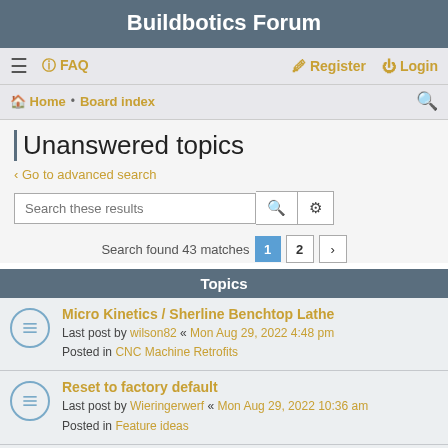Buildbotics Forum
≡  FAQ  Register  Login
Home · Board index
Unanswered topics
Go to advanced search
Search these results
Search found 43 matches  1  2  >
Topics
Micro Kinetics / Sherline Benchtop Lathe
Last post by wilson82 « Mon Aug 29, 2022 4:48 pm
Posted in CNC Machine Retrofits
Reset to factory default
Last post by Wieringerwerf « Mon Aug 29, 2022 10:36 am
Posted in Feature ideas
Roadmap
Last post by Wieringerwerf « Mon Aug 29, 2022 12:42 am
Posted in Feature ideas
Change Display Rotation
Last post by ...